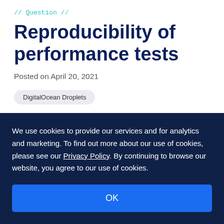// Question //
Reproducibility of performance tests
Posted on April 20, 2021
DigitalOcean Droplets
Asked by Jan Novotný
We use cookies to provide our services and for analytics and marketing. To find out more about our use of cookies, please see our Privacy Policy. By continuing to browse our website, you agree to our use of cookies.
OK